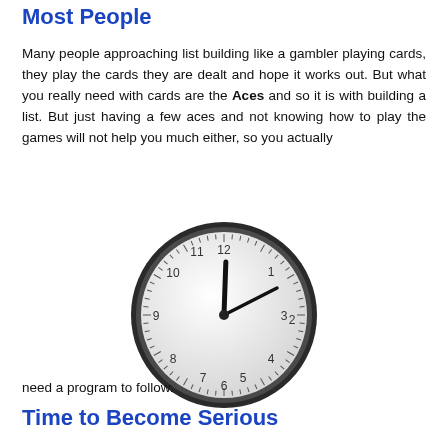Most People
Many people approaching list building like a gambler playing cards, they play the cards they are dealt and hope it works out. But what you really need with cards are the Aces and so it is with building a list. But just having a few aces and not knowing how to play the games will not help you much either, so you actually
[Figure (illustration): A realistic analog wall clock showing the time approximately 12:10. The clock has a dark gray/black outer ring, a white clock face with hour markers and minute tick marks, and bold black hands.]
need a program to follow.
Time to Become Serious